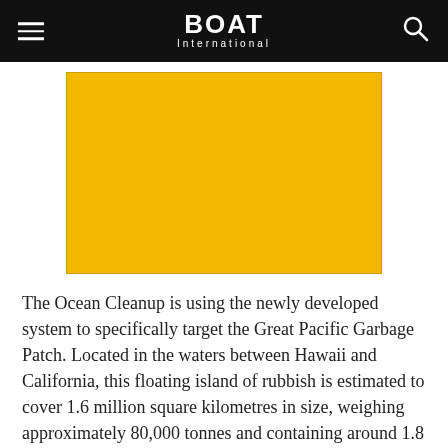BOAT International
[Figure (photo): Yellow rectangular image placeholder for The Ocean Cleanup article]
The Ocean Cleanup is using the newly developed system to specifically target the Great Pacific Garbage Patch. Located in the waters between Hawaii and California, this floating island of rubbish is estimated to cover 1.6 million square kilometres in size, weighing approximately 80,000 tonnes and containing around 1.8 trillion plastic pieces. The plastic is critically endangering marine creatures, which are becoming entangled in debris and